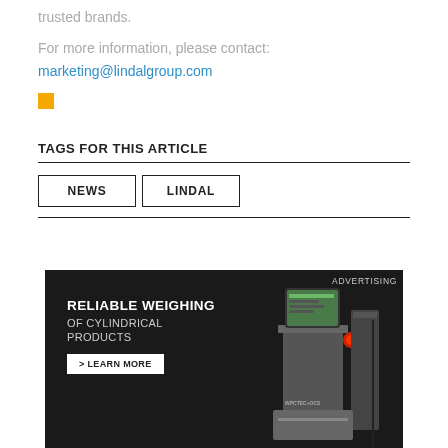trusted brands.
For more information, please contact:
marketing@lindalgroup.com
TAGS FOR THIS ARTICLE
NEWS
LINDAL
[Figure (photo): Advertisement banner for reliable weighing of cylindrical products with industrial weighing machine. Text reads: RELIABLE WEIGHING OF CYLINDRICAL PRODUCTS > LEARN MORE. Label: ADVERTISING.]